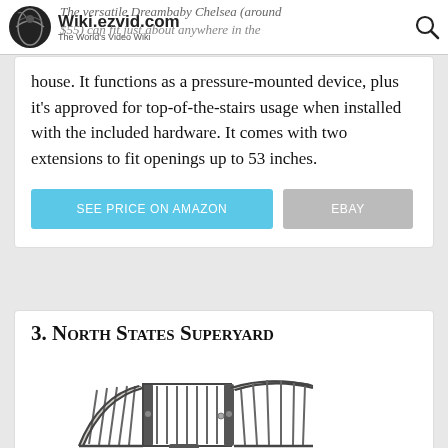Wiki.ezvid.com – The World's Video Wiki
The versatile Dreambaby Chelsea (around $55) can fit just about anywhere in the house. It functions as a pressure-mounted device, plus it's approved for top-of-the-stairs usage when installed with the included hardware. It comes with two extensions to fit openings up to 53 inches.
SEE PRICE ON AMAZON
EBAY
3. North States Superyard
[Figure (photo): Product image of the North States Superyard baby gate/play yard, showing a wide curved metal gate with vertical bars and a central door section, in dark finish.]
REVIEW    DETAILS